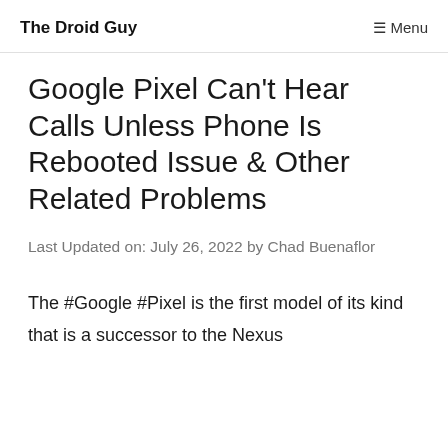The Droid Guy | Menu
Google Pixel Can't Hear Calls Unless Phone Is Rebooted Issue & Other Related Problems
Last Updated on: July 26, 2022 by Chad Buenaflor
The #Google #Pixel is the first model of its kind that is a successor to the Nexus